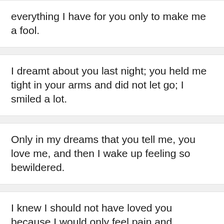everything I have for you only to make me a fool.
I dreamt about you last night; you held me tight in your arms and did not let go; I smiled a lot.
Only in my dreams that you tell me, you love me, and then I wake up feeling so bewildered.
I knew I should not have loved you because I would only feel pain and loneliness—what a fool.
I feel like a fool to love you simply